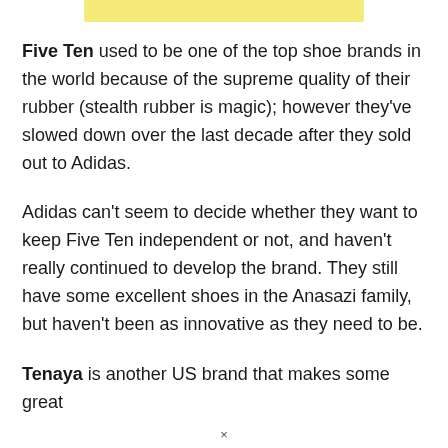[Figure (other): Yellow/cream colored horizontal bar at the top of the page]
Five Ten used to be one of the top shoe brands in the world because of the supreme quality of their rubber (stealth rubber is magic); however they've slowed down over the last decade after they sold out to Adidas.
Adidas can't seem to decide whether they want to keep Five Ten independent or not, and haven't really continued to develop the brand. They still have some excellent shoes in the Anasazi family, but haven't been as innovative as they need to be.
Tenaya is another US brand that makes some great